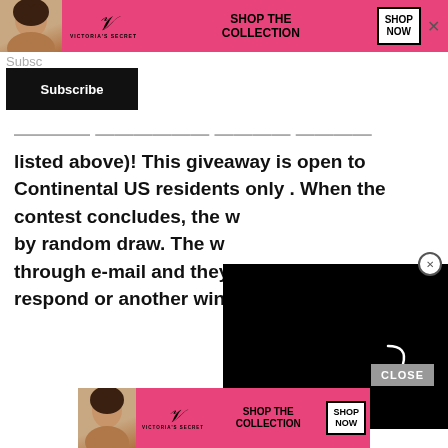[Figure (screenshot): Victoria's Secret advertisement banner at top - pink background with model, VS logo, SHOP THE COLLECTION text and SHOP NOW button, with X close button]
Subsc
[Figure (screenshot): Black Subscribe button]
...listing dating estimate prize pack (details listed above)! This giveaway is open to Continental US residents only . When the contest concludes, the w[inner will be selected] by random draw. The w[inner will be notified] through e-mail and they [will have 48 hours to] respond or another winn[er will be selected]
[Figure (screenshot): Black video player overlay with loading spinner in center-right area, and circular X close button in top right]
[Figure (screenshot): CLOSE button in grey, and Victoria's Secret advertisement banner at bottom - pink background with model, VS logo, SHOP THE COLLECTION text and SHOP NOW button]